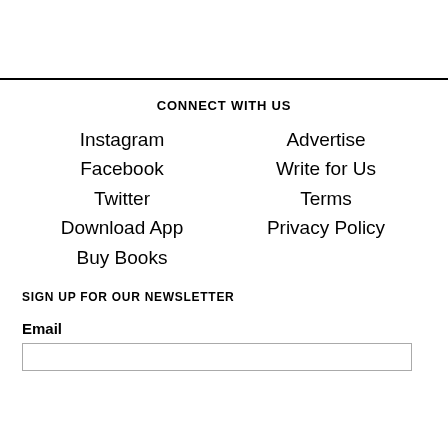CONNECT WITH US
Instagram
Facebook
Twitter
Download App
Buy Books
Advertise
Write for Us
Terms
Privacy Policy
SIGN UP FOR OUR NEWSLETTER
Email